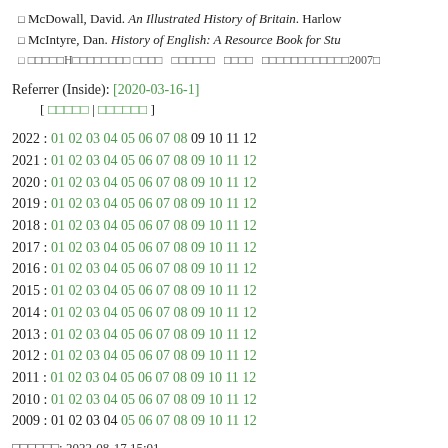McDowall, David. An Illustrated History of Britain. Harlow...
McIntyre, Dan. History of English: A Resource Book for Stu...
[CJK text] H[CJK text] [CJK] [CJK] [CJK] [CJK text]2007[CJK]
Referrer (Inside): [2020-03-16-1]
[ [CJK] | [CJK] ]
2022 : 01 02 03 04 05 06 07 08 09 10 11 12
2021 : 01 02 03 04 05 06 07 08 09 10 11 12
2020 : 01 02 03 04 05 06 07 08 09 10 11 12
2019 : 01 02 03 04 05 06 07 08 09 10 11 12
2018 : 01 02 03 04 05 06 07 08 09 10 11 12
2017 : 01 02 03 04 05 06 07 08 09 10 11 12
2016 : 01 02 03 04 05 06 07 08 09 10 11 12
2015 : 01 02 03 04 05 06 07 08 09 10 11 12
2014 : 01 02 03 04 05 06 07 08 09 10 11 12
2013 : 01 02 03 04 05 06 07 08 09 10 11 12
2012 : 01 02 03 04 05 06 07 08 09 10 11 12
2011 : 01 02 03 04 05 06 07 08 09 10 11 12
2010 : 01 02 03 04 05 06 07 08 09 10 11 12
2009 : 01 02 03 04 05 06 07 08 09 10 11 12
[CJK]: 2022-08-17 15:01